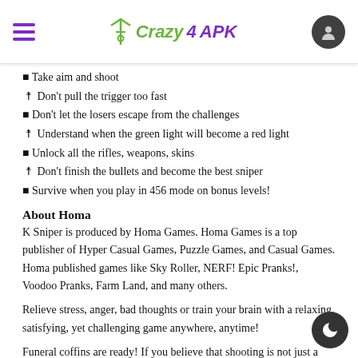Crazy4APK
🔲 Take aim and shoot
🔮 Don't pull the trigger too fast
🔲 Don't let the losers escape from the challenges
🔮 Understand when the green light will become a red light
🔲 Unlock all the rifles, weapons, skins
🔮 Don't finish the bullets and become the best sniper
🔲 Survive when you play in 456 mode on bonus levels!
About Homa
K Sniper is produced by Homa Games. Homa Games is a top publisher of Hyper Casual Games, Puzzle Games, and Casual Games. Homa published games like Sky Roller, NERF! Epic Pranks!, Voodoo Pranks, Farm Land, and many others.
Relieve stress, anger, bad thoughts or train your brain with a relaxing, satisfying, yet challenging game anywhere, anytime!
Funeral coffins are ready! If you believe that shooting is not just a